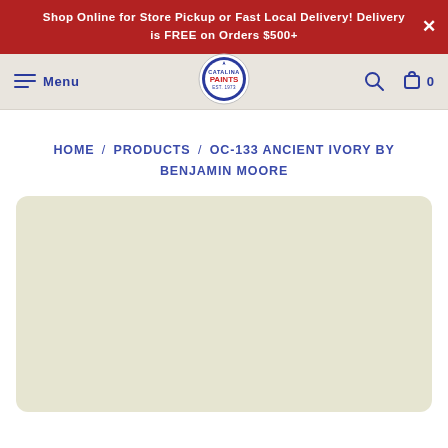Shop Online for Store Pickup or Fast Local Delivery! Delivery is FREE on Orders $500+
Menu  [Catalina Paints logo]  [Search]  [Cart] 0
HOME / PRODUCTS / OC-133 ANCIENT IVORY BY BENJAMIN MOORE
[Figure (other): Large paint color swatch showing OC-133 Ancient Ivory by Benjamin Moore — a warm off-white/ivory color with a slight yellow-green tint, displayed in a rounded rectangle.]